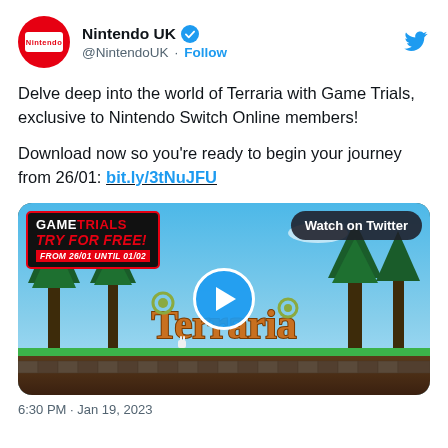[Figure (screenshot): Nintendo UK Twitter profile tweet showing Nintendo UK verified account (@NintendoUK) with Follow button and Twitter bird logo. Tweet text promotes Terraria Game Trials for Nintendo Switch Online members with a link bit.ly/3tNuJFU and an embedded video thumbnail showing the Terraria game GAMETRIALS TRY FOR FREE! FROM 26/01 UNTIL 01/02 overlay with a Watch on Twitter badge and play button.]
Nintendo UK @NintendoUK · Follow
Delve deep into the world of Terraria with Game Trials, exclusive to Nintendo Switch Online members!
Download now so you're ready to begin your journey from 26/01: bit.ly/3tNuJFU
6:30 PM · Jan 19, 2023